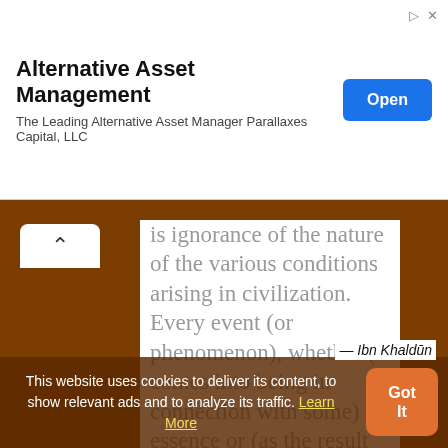[Figure (screenshot): Advertisement banner for Alternative Asset Management. Title: 'Alternative Asset Management'. Subtitle: 'The Leading Alternative Asset Manager Parallaxes Capital, LLC'. Blue 'Open' button on right. Small icons top right corner.]
is ignorance of the nature of the various conditions arising in civilization. Every event (or phenomenon), whether (it comes into being in connection with some) essence or (as the result of an) action, must inevitably possess a nature peculiar to its essence as well as to the conditions delivered to it.
This website uses cookies to deliver its content, to show relevant ads and to analyze its traffic. Learn More
— Ibn Khaldūn